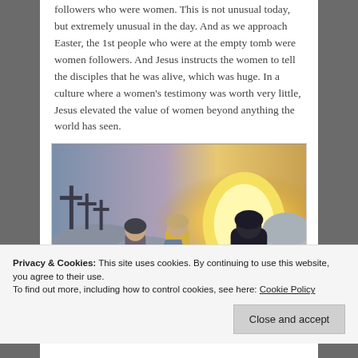followers who were women.  This is not unusual today, but extremely unusual in the day.  And as we approach Easter, the 1st people who were at the empty tomb were women followers.  And Jesus instructs the women to tell the disciples that he was alive, which was huge.  In a culture where a women's testimony was worth very little, Jesus elevated the value of women beyond anything the world has seen.
[Figure (illustration): Religious painting depicting three women at the empty tomb of Jesus, with crosses visible in the background on the left side and a bright light emanating from the tomb entrance on the right.]
Privacy & Cookies: This site uses cookies. By continuing to use this website, you agree to their use.
To find out more, including how to control cookies, see here: Cookie Policy
Close and accept